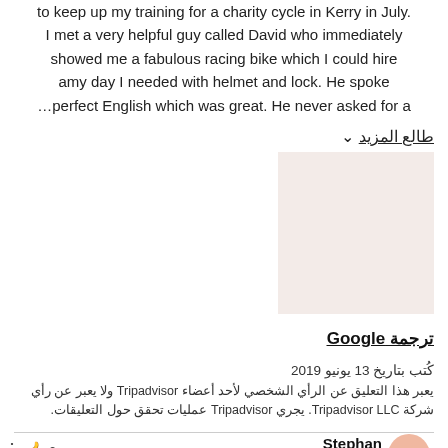to keep up my training for a charity cycle in Kerry in July. I met a very helpful guy called David who immediately showed me a fabulous racing bike which I could hire amy day I needed with helmet and lock. He spoke …perfect English which was great. He never asked for a
طالع المزيد ∨
[Figure (photo): A light pinkish-beige square image placeholder]
ترجمة Google
كُتب بتاريخ 13 يونيو 2019
يعبر هذا التعليق عن الرأي الشخصي لأحد أعضاء Tripadvisor ولا يعبر عن رأي شركة Tripadvisor LLC. يجري Tripadvisor عمليات تحقق حول التعليقات.
Stephan
مساهمة